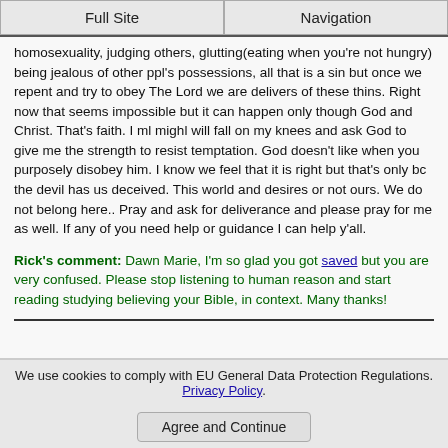Full Site | Navigation
homosexuality, judging others, glutting(eating when you're not hungry) being jealous of other ppl's possessions, all that is a sin but once we repent and try to obey The Lord we are delivers of these thins. Right now that seems impossible but it can happen only though God and Christ. That's faith. I ml mighl will fall on my knees and ask God to give me the strength to resist temptation. God doesn't like when you purposely disobey him. I know we feel that it is right but that's only bc the devil has us deceived. This world and desires or not ours. We do not belong here.. Pray and ask for deliverance and please pray for me as well. If any of you need help or guidance I can help y'all.
Rick's comment: Dawn Marie, I'm so glad you got saved but you are very confused. Please stop listening to human reason and start reading studying believing your Bible, in context. Many thanks!
We use cookies to comply with EU General Data Protection Regulations. Privacy Policy.
Agree and Continue